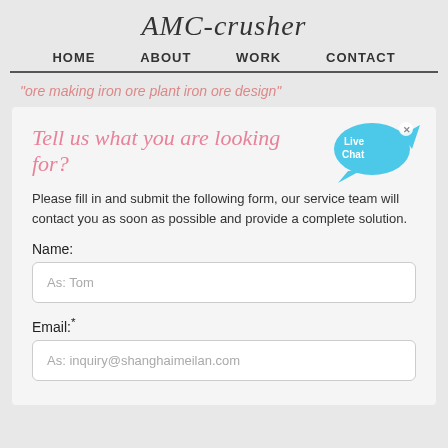AMC-crusher
HOME   ABOUT   WORK   CONTACT
"ore making iron ore plant iron ore design"
[Figure (illustration): Live Chat speech bubble icon in blue with 'Live Chat' text and an X close button]
Tell us what you are looking for?
Please fill in and submit the following form, our service team will contact you as soon as possible and provide a complete solution.
Name:
As: Tom
Email:*
As: inquiry@shanghaimeilan.com